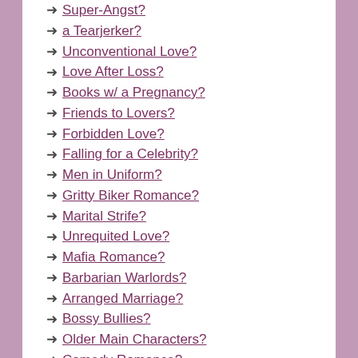Super-Angst?
a Tearjerker?
Unconventional Love?
Love After Loss?
Books w/ a Pregnancy?
Friends to Lovers?
Forbidden Love?
Falling for a Celebrity?
Men in Uniform?
Gritty Biker Romance?
Marital Strife?
Unrequited Love?
Mafia Romance?
Barbarian Warlords?
Arranged Marriage?
Bossy Bullies?
Older Main Characters?
Comedy Romance?
Office Romance?
Second Chance Romance?
Psych-thrillers?